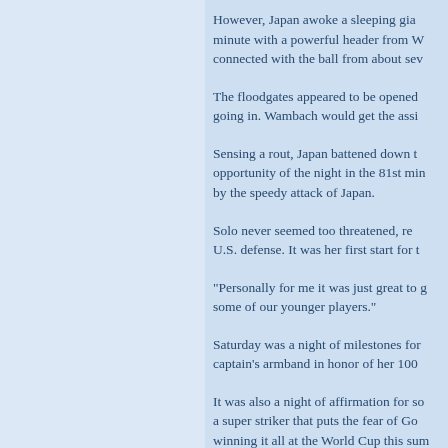However, Japan awoke a sleeping gia... minute with a powerful header from W... connected with the ball from about sev...
The floodgates appeared to be opened... going in. Wambach would get the assi...
Sensing a rout, Japan battened down ... opportunity of the night in the 81st min... by the speedy attack of Japan.
Solo never seemed too threatened, re... U.S. defense. It was her first start for t...
"Personally for me it was just great to g... some of our younger players."
Saturday was a night of milestones fo... captain's armband in honor of her 100...
It was also a night of affirmation for so... a super striker that puts the fear of Go... winning it all at the World Cup this sum...
Most of all we saw what the game was...